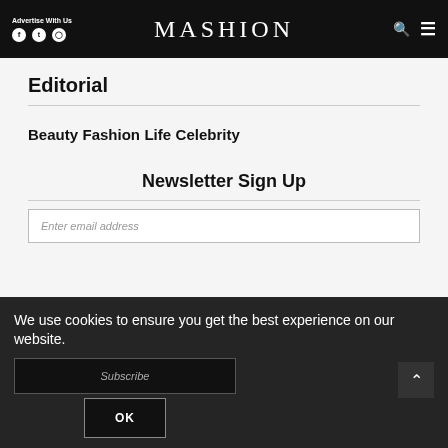Advertise With Us | MASHION
Editorial
Beauty
Fashion
Life
Celebrity
Newsletter Sign Up
Enter email address
Subscribe
We use cookies to ensure you get the best experience on our website.
OK